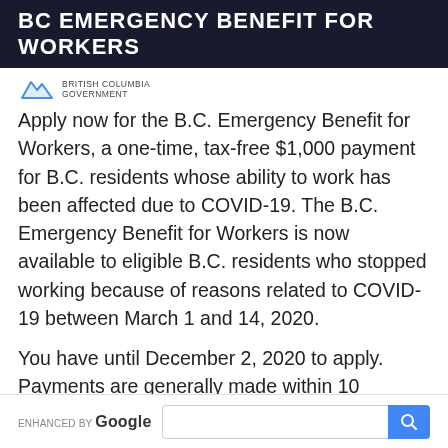BC EMERGENCY BENEFIT FOR WORKERS
[Figure (logo): BC Government logo with mountain icon and 'BRITISH COLUMBIA' text]
Apply now for the B.C. Emergency Benefit for Workers, a one-time, tax-free $1,000 payment for B.C. residents whose ability to work has been affected due to COVID-19. The B.C. Emergency Benefit for Workers is now available to eligible B.C. residents who stopped working because of reasons related to COVID-19 between March 1 and 14, 2020.
You have until December 2, 2020 to apply. Payments are generally made within 10 business days after your application is approved. We'll notify you by email when your payment has been processed.
[Figure (other): Google search bar with 'ENHANCED BY Google' label and search icon button]